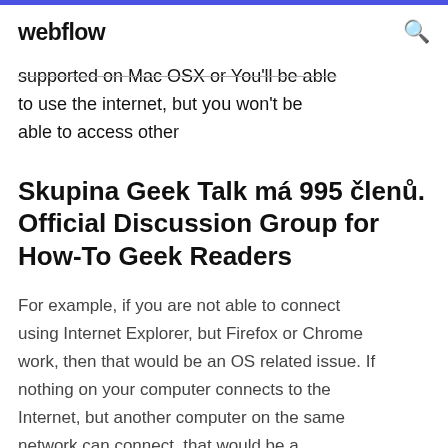webflow
supported on Mac OSX or You'll be able to use the internet, but you won't be able to access other
Skupina Geek Talk má 995 členů. Official Discussion Group for How-To Geek Readers
For example, if you are not able to connect using Internet Explorer, but Firefox or Chrome work, then that would be an OS related issue. If nothing on your computer connects to the Internet, but another computer on the same network can connect, that would be a